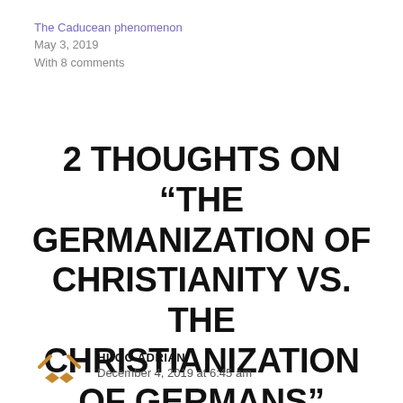The Caducean phenomenon
May 3, 2019
With 8 comments
2 THOUGHTS ON “THE GERMANIZATION OF CHRISTIANITY VS. THE CHRISTIANIZATION OF GERMANS”
HUGO ADRIAN
December 4, 2019 at 6:45 am